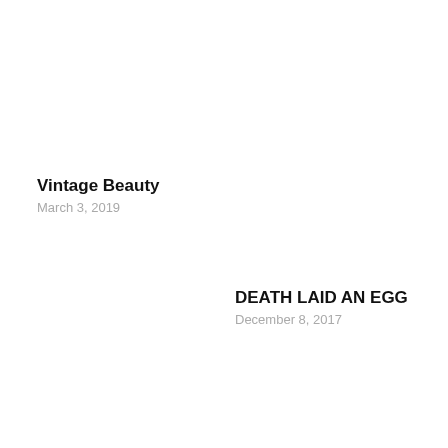Vintage Beauty
March 3, 2019
DEATH LAID AN EGG
December 8, 2017